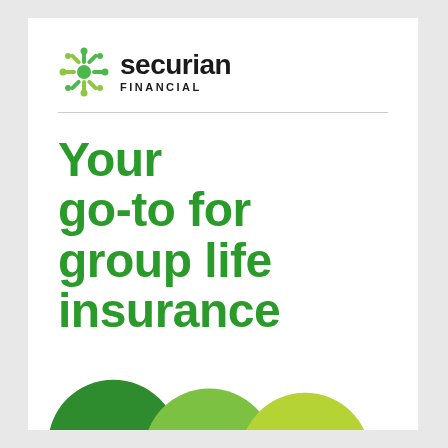[Figure (logo): Securian Financial logo with green snowflake/star icon and company name]
Your go-to for group life insurance
[Figure (illustration): Three overlapping circles in gradient greens (dark green, medium green, light yellow-green) each containing double chevron/arrow icons pointing right]